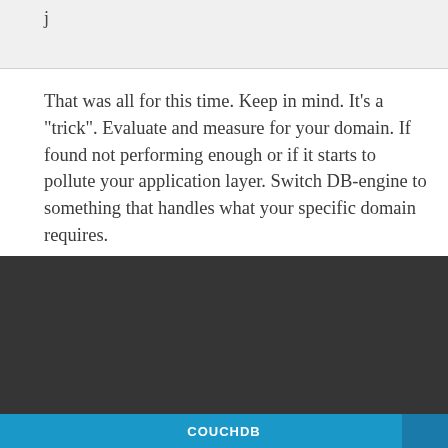j
That was all for this time. Keep in mind. It’s a “trick”. Evaluate and measure for your domain. If found not performing enough or if it starts to pollute your application layer. Switch DB-engine to something that handles what your specific domain requires.
This website uses cookies to ensure you get the best experience on our website.
Learn more
Got it!
COUCHDB